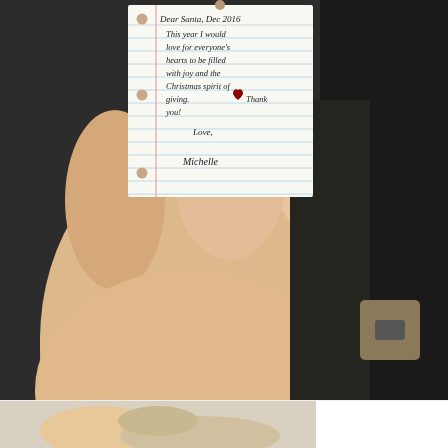[Figure (photo): A hand holding a small piece of lined notebook paper with a handwritten letter to Santa. The note reads: 'Dear Santa, Dec 2016. This year I would love for everyone's hearts to be filled with joy and the Christmas spirit of giving. ♥ Thank you! Love, Michelle'. The paper has hole punches along the left margin and blue horizontal lines.]
[Figure (photo): Partial view of a second photo at the bottom of the page, showing what appears to be a hand or object, cropped off.]